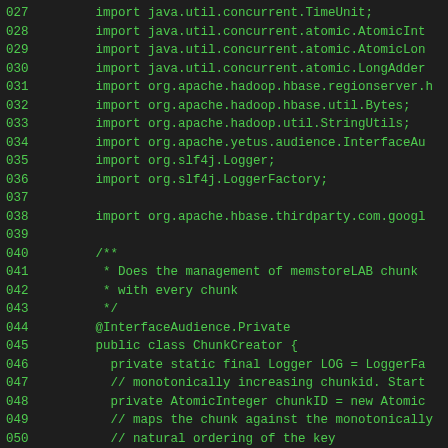027  import java.util.concurrent.TimeUnit;
028  import java.util.concurrent.atomic.AtomicInt
029  import java.util.concurrent.atomic.AtomicLong
030  import java.util.concurrent.atomic.LongAdder
031  import org.apache.hadoop.hbase.regionserver.h
032  import org.apache.hadoop.hbase.util.Bytes;
033  import org.apache.hadoop.util.StringUtils;
034  import org.apache.yetus.audience.InterfaceAud
035  import org.slf4j.Logger;
036  import org.slf4j.LoggerFactory;
037
038  import org.apache.hbase.thirdparty.com.google
039
040  /**
041   * Does the management of memstoreLAB chunk
042   * with every chunk
043   */
044  @InterfaceAudience.Private
045  public class ChunkCreator {
046    private static final Logger LOG = LoggerFa
047    // monotonically increasing chunkid. Start
048    private AtomicInteger chunkID = new Atomic
049    // maps the chunk against the monotonically
050    // natural ordering of the key
051    // CellChunkMap creation should convert the
052
053    // chunk id of each chunk is the first inte
054    // the header size need to be changed in ca
055    public static final int SIZEOF_CHUNK_HEADE